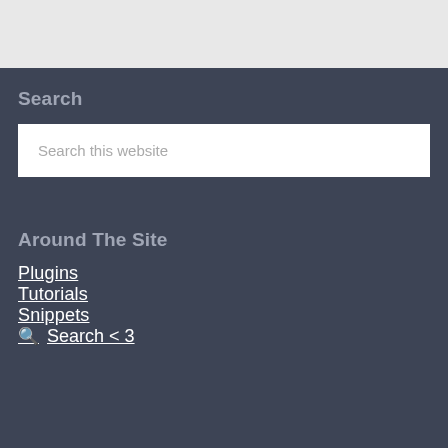Search
Search this website
Around The Site
Plugins
Tutorials
Snippets
Search < 3